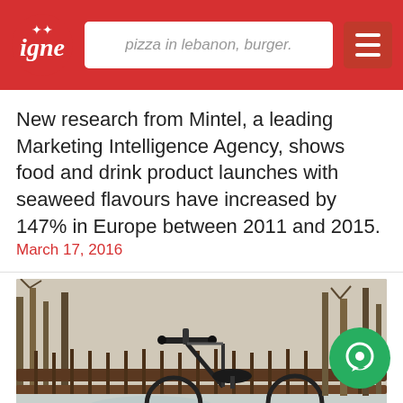pizza in lebanon, burger.
New research from Mintel, a leading Marketing Intelligence Agency, shows food and drink product launches with seaweed flavours have increased by 147% in Europe between 2011 and 2015.
March 17, 2016
[Figure (photo): A bicycle leaning against a railing near a frozen river, surrounded by bare winter trees. HDR-processed photograph.]
BALKAN CUISINE
Bucharest, Romania: Discovering a New Culture